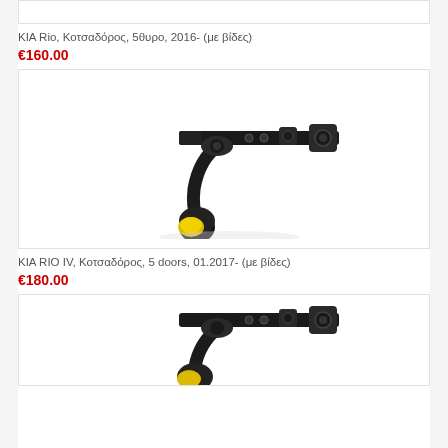[Figure (photo): Top edge of a product image box, cropped towbar image (partial, top)]
KIA Rio, Κοτσαδόρος, 5θυρο, 2016- (με βίδες)
€160.00
[Figure (photo): Black towbar/tow hitch product image with yellow cap on ball, mounting hardware visible, on white background]
KIA RIO IV, Κοτσαδόρος, 5 doors, 01.2017- (με βίδες)
€180.00
[Figure (photo): Black towbar/tow hitch product image, partially cropped at bottom of page, showing ball and mounting bracket]